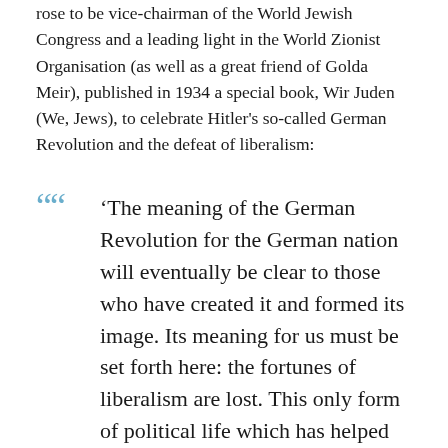rose to be vice-chairman of the World Jewish Congress and a leading light in the World Zionist Organisation (as well as a great friend of Golda Meir), published in 1934 a special book, Wir Juden (We, Jews), to celebrate Hitler's so-called German Revolution and the defeat of liberalism:
'The meaning of the German Revolution for the German nation will eventually be clear to those who have created it and formed its image. Its meaning for us must be set forth here: the fortunes of liberalism are lost. This only form of political life which has helped Jewish assimilation is now…'